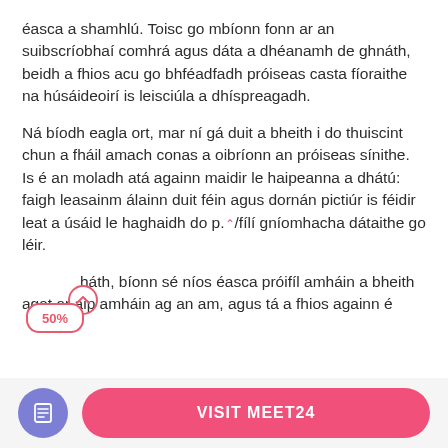éasca a shamhlú. Toisc go mbíonn fonn ar an suibscríobhaí comhrá agus dáta a dhéanamh de ghnáth, beidh a fhios acu go bhféadfadh próiseas casta fíoraithe na húsáideoirí is leisciúla a dhíspreagadh.
Ná bíodh eagla ort, mar ní gá duit a bheith i do thuiscint chun a fháil amach conas a oibríonn an próiseas sínithe. Is é an moladh atá againn maidir le haipeanna a dhátú: faigh leasainm álainn duit féin agus dornán pictiúr is féidir leat a úsáid le haghaidh do p. ⌃/fílí gníomhacha dátaithe go léir.
( 50% háth, bíonn sé níos éasca próifíl amháin a bheith agat ar aip amháin ag an am, agus tá a fhios againn é
[Figure (other): Footer bar with a purple circular icon button containing a document/list icon on the left, and a pink rounded rectangle button labeled VISIT MEET24 on the right]